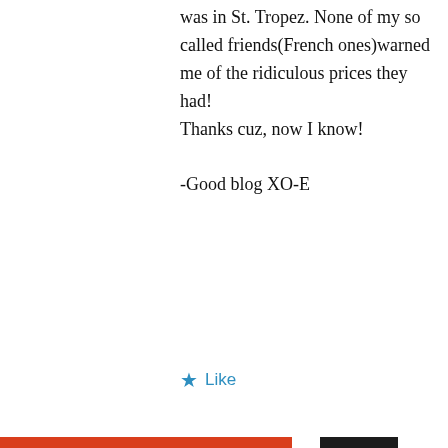was in St. Tropez. None of my so called friends(French ones)warned me of the ridiculous prices they had!
Thanks cuz, now I know!

-Good blog XO-E
★ Like
↳ Reply
Darlene on July 7, 2010 at 9:52 pm
Privacy & Cookies: This site uses cookies. By continuing to use this website, you agree to their use.
To find out more, including how to control cookies, see here: Cookie Policy
Close and accept